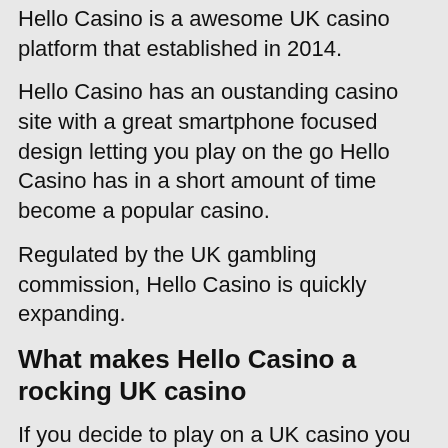Hello Casino is a awesome UK casino platform that established in 2014.
Hello Casino has an oustanding casino site with a great smartphone focused design letting you play on the go Hello Casino has in a short amount of time become a popular casino.
Regulated by the UK gambling commission, Hello Casino is quickly expanding.
What makes Hello Casino a rocking UK casino
If you decide to play on a UK casino you the player should always read casino reviews to get a clear picture of the casino site. It's not hard to make a blunder and end up on a unlicensed casino having no player security and licensing. A good casino like Hello Casino is licensed by the UK Gambling Commission by...